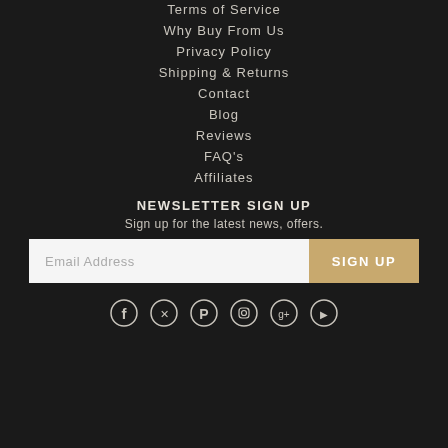Terms of Service
Why Buy From Us
Privacy Policy
Shipping & Returns
Contact
Blog
Reviews
FAQ's
Affiliates
NEWSLETTER SIGN UP
Sign up for the latest news, offers.
Email Address
SIGN UP
[Figure (illustration): Social media icons: Facebook, Twitter, Pinterest, Instagram, Google+, and another icon]